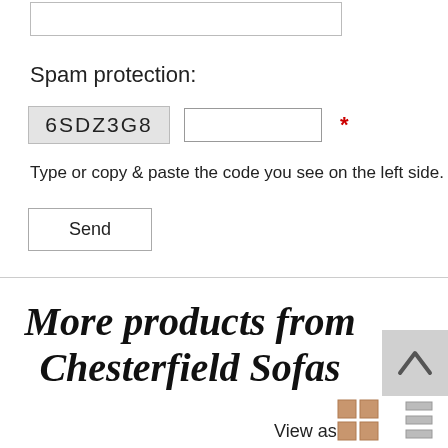[Figure (screenshot): Top portion of a web form showing an empty textarea input field with a border]
Spam protection:
[Figure (screenshot): CAPTCHA row showing code '6SDZ3G8' in a gray box, an empty text input field, and a red asterisk required marker]
Type or copy & paste the code you see on the left side.
[Figure (screenshot): Send button with border]
More products from Chesterfield Sofas
View as